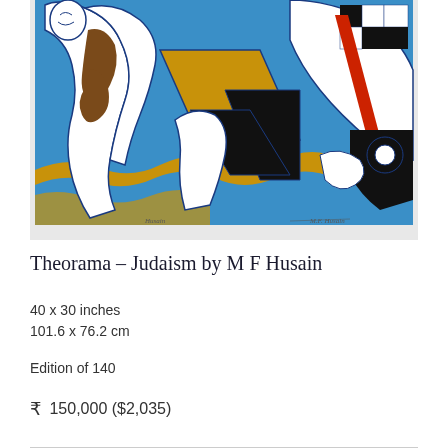[Figure (illustration): Colorful artwork by M F Husain titled Theorama - Judaism. Bold figurative composition with white figures, geometric black and gold shapes, and a bright blue background with flowing gold wave patterns. Red diagonal element on right side. Bold outlines in dark blue/black. Signed at bottom.]
Theorama – Judaism by M F Husain
40 x 30 inches
101.6 x 76.2 cm
Edition of 140
₹  150,000 ($2,035)